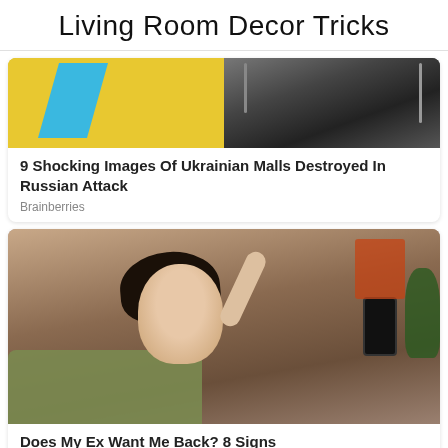Living Room Decor Tricks
[Figure (photo): Split image: left half shows yellow and blue geometric shapes/background, right half shows destroyed mall building with dark rubble and street lamps]
9 Shocking Images Of Ukrainian Malls Destroyed In Russian Attack
Brainberries
[Figure (photo): Young Asian woman sitting on a green/yellow sofa, holding a smartphone, hand raised to her head, looking distressed, indoor background with plants and orange/red art]
Does My Ex Want Me Back? 8 Signs
Brainberries
✕ CLOSE